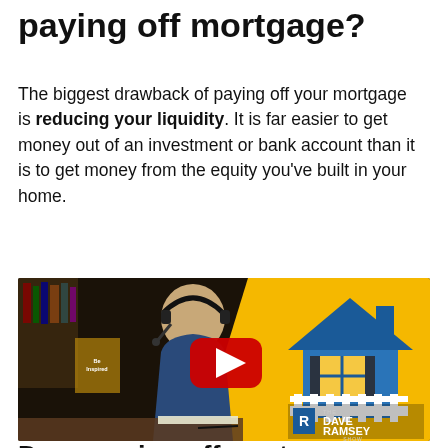paying off mortgage?
The biggest drawback of paying off your mortgage is reducing your liquidity. It is far easier to get money out of an investment or bank account than it is to get money from the equity you've built in your home.
[Figure (screenshot): YouTube video thumbnail showing a man with headset at a desk on the left (dark background with bookshelf), and a cartoon house illustration on a yellow background on the right. A red YouTube play button is centered. The Dave Ramsey Show logo is in the bottom right corner.]
Does paying off mortgage